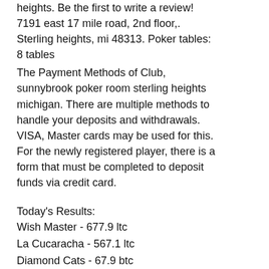heights. Be the first to write a review! 7191 east 17 mile road, 2nd floor,. Sterling heights, mi 48313. Poker tables: 8 tables
The Payment Methods of Club, sunnybrook poker room sterling heights michigan. There are multiple methods to handle your deposits and withdrawals. VISA, Master cards may be used for this. For the newly registered player, there is a form that must be completed to deposit funds via credit card.
Today's Results:
Wish Master - 677.9 ltc
La Cucaracha - 567.1 ltc
Diamond Cats - 67.9 btc
The Wild Chase - 461.9 bch
Go Bananas - 129.4 btc
Santa´s Kiss - 712.7 usdt
Book of Aztec - 128.3 ltc
Winter Wonders - 157 bch